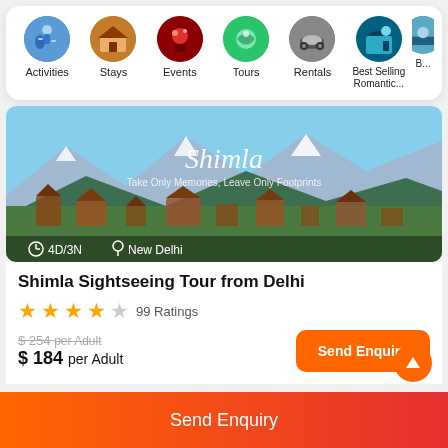[Figure (screenshot): Navigation bar with circular icons for Activities, Stays, Events, Tours, Rentals, Best Selling Romantic..., and a partially visible category]
[Figure (photo): Hero banner showing Shimla cityscape with mountains and text 'Shimla - Take Only Memories, Leave Only Footprints'; duration 4D/3N from New Delhi]
Shimla Sightseeing Tour from Delhi
★★★★☆ 99 Ratings
$ 254 per Adult (original price, strikethrough)
$ 184 per Adult (discounted price)
Send Enquiry
Send Enquiry